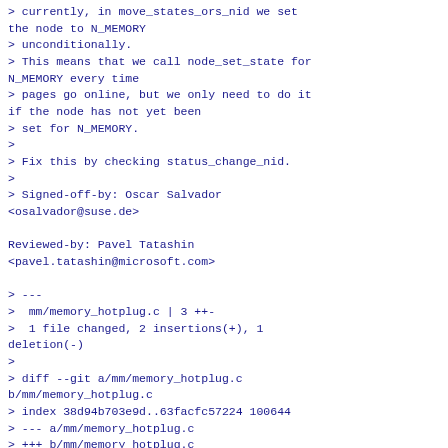> currently, in move_states_ors_nid we set the node to N_MEMORY
> unconditionally.
> This means that we call node_set_state for N_MEMORY every time
> pages go online, but we only need to do it if the node has not yet been
> set for N_MEMORY.
>
> Fix this by checking status_change_nid.
>
> Signed-off-by: Oscar Salvador <osalvador@suse.de>

Reviewed-by: Pavel Tatashin <pavel.tatashin@microsoft.com>

> ---
>  mm/memory_hotplug.c | 3 ++-
>  1 file changed, 2 insertions(+), 1 deletion(-)
>
> diff --git a/mm/memory_hotplug.c b/mm/memory_hotplug.c
> index 38d94b703e9d..63facfc57224 100644
> --- a/mm/memory_hotplug.c
> +++ b/mm/memory_hotplug.c
> @@ -753,7 +753,8 @@ static void node_states_set_node(int node, struct memory_notify *arg)
> -    if (arg->status_change_nid_high >= 0)